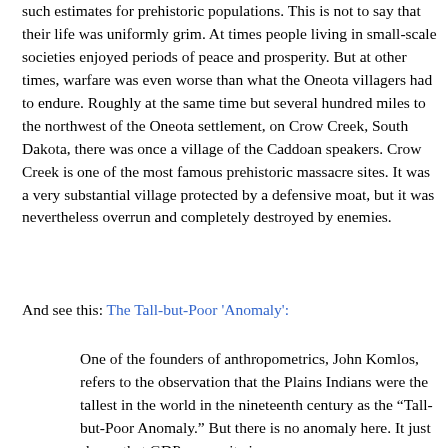such estimates for prehistoric populations. This is not to say that their life was uniformly grim. At times people living in small-scale societies enjoyed periods of peace and prosperity. But at other times, warfare was even worse than what the Oneota villagers had to endure. Roughly at the same time but several hundred miles to the northwest of the Oneota settlement, on Crow Creek, South Dakota, there was once a village of the Caddoan speakers. Crow Creek is one of the most famous prehistoric massacre sites. It was a very substantial village protected by a defensive moat, but it was nevertheless overrun and completely destroyed by enemies.
And see this: The Tall-but-Poor 'Anomaly':
One of the founders of anthropometrics, John Komlos, refers to the observation that the Plains Indians were the tallest in the world in the nineteenth century as the “Tall-but-Poor Anomaly.” But there is no anomaly here. It just shows that GDP per capita is a very poor